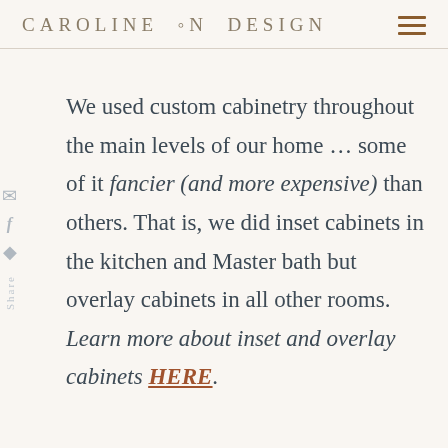CAROLINE ON DESIGN
We used custom cabinetry throughout the main levels of our home … some of it fancier (and more expensive) than others. That is, we did inset cabinets in the kitchen and Master bath but overlay cabinets in all other rooms. Learn more about inset and overlay cabinets HERE.